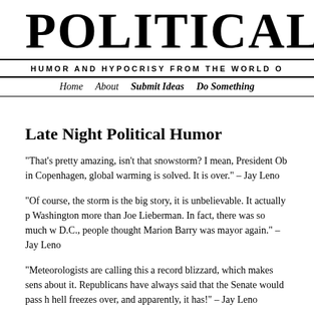POLITICAL IRO
HUMOR AND HYPOCRISY FROM THE WORLD O
Home   About   Submit Ideas   Do Something
Late Night Political Humor
“That’s pretty amazing, isn’t that snowstorm? I mean, President Ob in Copenhagen, global warming is solved. It is over.” – Jay Leno
“Of course, the storm is the big story, it is unbelievable. It actually p Washington more than Joe Lieberman. In fact, there was so much w D.C., people thought Marion Barry was mayor again.” – Jay Leno
“Meteorologists are calling this a record blizzard, which makes sens about it. Republicans have always said that the Senate would pass h hell freezes over, and apparently, it has!” – Jay Leno